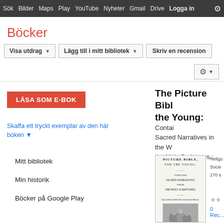Sök  Bilder  Maps  Play  YouTube  Nyheter  Gmail  Drive  Logga in  ⚙
Böcker
Visa utdrag ▼   Lägg till i mitt bibliotek ▼   Skriv en recension
⚙ ▼
LÄSA SOM E-BOK
Skaffa ett tryckt exemplar av den här boken ▼
Mitt bibliotek
Min historik
Böcker på Google Play
The Picture Bible for the Young: Containing Sacred Narratives in the Words of the Holy Scriptures : Genesis to Deuteronomy
[Figure (illustration): Book cover of 'The Picture Bible for the Young' showing title page text and an engraved illustration of figures at the bottom]
Religo... Socie... 170 s...
★★
0 Rec...